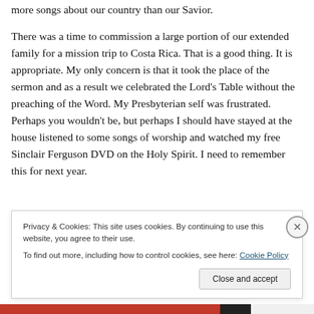more songs about our country than our Savior.
There was a time to commission a large portion of our extended family for a mission trip to Costa Rica. That is a good thing. It is appropriate. My only concern is that it took the place of the sermon and as a result we celebrated the Lord’s Table without the preaching of the Word. My Presbyterian self was frustrated. Perhaps you wouldn’t be, but perhaps I should have stayed at the house listened to some songs of worship and watched my free Sinclair Ferguson DVD on the Holy Spirit. I need to remember this for next year.
Privacy & Cookies: This site uses cookies. By continuing to use this website, you agree to their use.
To find out more, including how to control cookies, see here: Cookie Policy
Close and accept